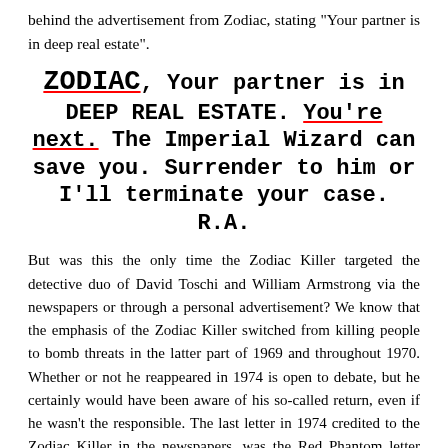behind the advertisement from Zodiac, stating "Your partner is in deep real estate".
[Figure (other): Newspaper advertisement clipping with bold typewriter font text: ZODIAC, Your partner is in DEEP REAL ESTATE. You're next. The Imperial Wizard can save you. Surrender to him or I'll terminate your case. R.A. The words ZODIAC and You're next. are underlined in red.]
But was this the only time the Zodiac Killer targeted the detective duo of David Toschi and William Armstrong via the newspapers or through a personal advertisement? We know that the emphasis of the Zodiac Killer switched from killing people to bomb threats in the latter part of 1969 and throughout 1970. Whether or not he reappeared in 1974 is open to debate, but he certainly would have been aware of his so-called return, even if he wasn't the responsible. The last letter in 1974 credited to the Zodiac Killer in the newspapers, was the Red Phantom letter postmarked July 8th 1974. So, what are the chances that the Zodiac Killer would mail another letter in the August of 1974, indicating his intention of bombing certain locations in San Francisco, getting